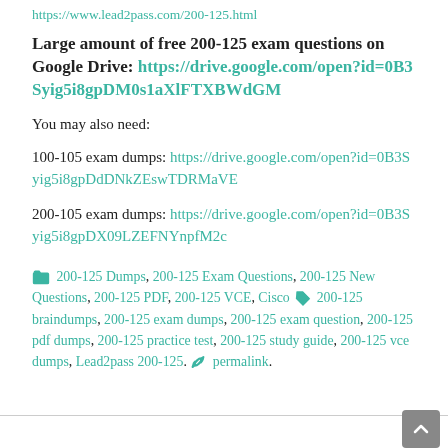https://www.lead2pass.com/200-125.html
Large amount of free 200-125 exam questions on Google Drive: https://drive.google.com/open?id=0B3Syig5i8gpDM0s1aXlFTXBWdGM
You may also need:
100-105 exam dumps: https://drive.google.com/open?id=0B3Syig5i8gpDdDNkZEswTDRMaVE
200-105 exam dumps: https://drive.google.com/open?id=0B3Syig5i8gpDX09LZEFNYnpfM2c
200-125 Dumps, 200-125 Exam Questions, 200-125 New Questions, 200-125 PDF, 200-125 VCE, Cisco 200-125 braindumps, 200-125 exam dumps, 200-125 exam question, 200-125 pdf dumps, 200-125 practice test, 200-125 study guide, 200-125 vce dumps, Lead2pass 200-125. permalink.